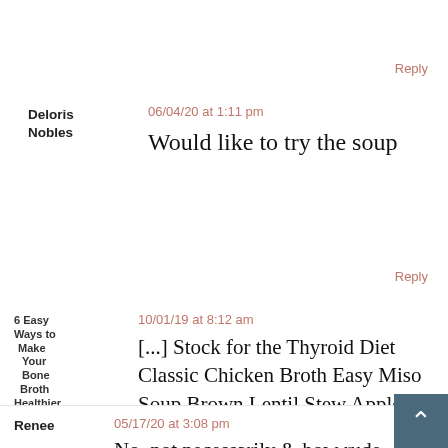Reply
Deloris Nobles  06/04/20 at 1:11 pm
Would like to try the soup
Reply
6 Easy Ways to Make Your Bone Broth Healthier - HormonesBalance.com  10/01/19 at 8:12 am
[...] Stock for the Thyroid Diet Classic Chicken Broth Easy Miso Soup Brown Lentil Stew Apple Squash Soup with Coconut Butter Instant Pot Bison and Cabbage Stew Instant Pot Chicken Rice [...]
Reply
Renee  05/17/20 at 3:08 pm
No, not necessarily & how rude to